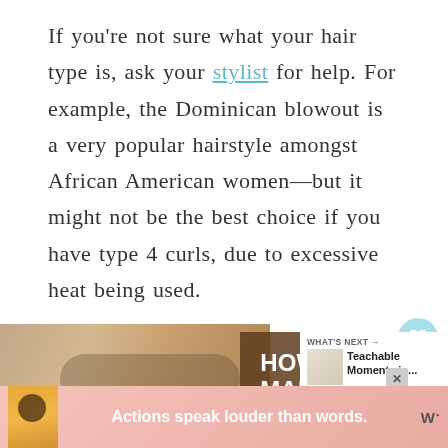If you're not sure what your hair type is, ask your stylist for help. For example, the Dominican blowout is a very popular hairstyle amongst African American women—but it might not be the best choice if you have type 4 curls, due to excessive heat being used.
[Figure (photo): Photo of a person with blonde hair and glasses, overlaid with text 'HOW TO MAKE MONEY BLOGGING' on a brown overlay. A 'WHAT'S NEXT' box shows 'Teachable Moments in...' with a product image.]
[Figure (photo): Advertisement banner with illustrated person in yellow top and text 'Actions speak louder than words.' with a logo mark on the right.]